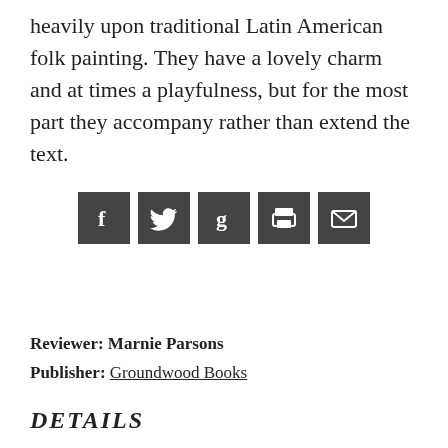heavily upon traditional Latin American folk painting. They have a lovely charm and at times a playfulness, but for the most part they accompany rather than extend the text.
[Figure (other): Social sharing icons: Facebook, Twitter, Goodreads, Print, Email — five dark square icon buttons in a row]
Reviewer: Marnie Parsons
Publisher: Groundwood Books
DETAILS